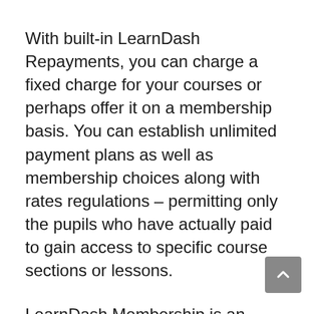With built-in LearnDash Repayments, you can charge a fixed charge for your courses or perhaps offer it on a membership basis. You can establish unlimited payment plans as well as membership choices along with rates regulations – permitting only the pupils who have actually paid to gain access to specific course sections or lessons.
LearnDash Membership is an additional one-of-a-kind feature that enables learners of all levels to benefit from LearnDash's prebuilt attributes without signing up in any type of courses! If they desire complete accessibility to LearnDash's